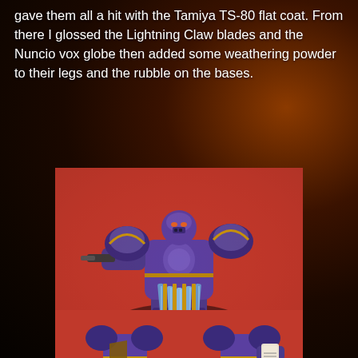gave them all a hit with the Tamiya TS-80 flat coat. From there I glossed the Lightning Claw blades and the Nuncio vox globe then added some weathering powder to their legs and the rubble on the bases.
[Figure (photo): A painted Warhammer 40K space marine miniature with purple armor and blue lightning claw blades, posed on a red background. The figure is shown from a front-left angle.]
[Figure (photo): Two painted Warhammer 40K space marine miniatures with purple armor shown on a red background, partially visible at the bottom of the page.]